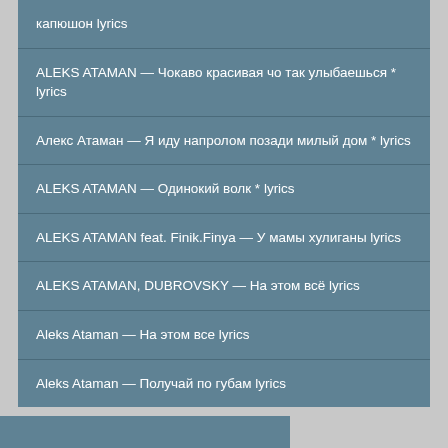капюшон lyrics
ALEKS ATAMAN — Чокаво красивая чо так улыбаешься * lyrics
Алекс Атаман — Я иду напролом позади милый дом * lyrics
ALEKS ATAMAN — Одинокий волк * lyrics
ALEKS ATAMAN feat. Finik.Finya — У мамы хулиганы lyrics
ALEKS ATAMAN, DUBROVSKY — На этом всё lyrics
Aleks Ataman — На этом все lyrics
Aleks Ataman — Получай по губам lyrics